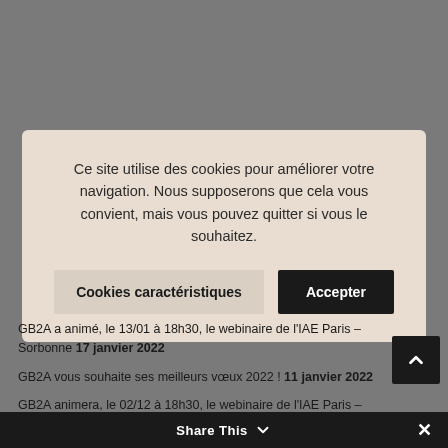[Figure (screenshot): Grey background representing a website with a cookie consent modal overlay]
Ce site utilise des cookies pour améliorer votre navigation. Nous supposerons que cela vous convient, mais vous pouvez quitter si vous le souhaitez.
Cookies caractéristiques
Accepter
GB2A a animé, le 13/01 à 18h30, le webinaire de l'IAE Paris – Sorbonne 17 janvier 2022
GB2A vous souhaite ses meilleurs vœux 2022 ! 11 janvier 2022
GB2A animera, le 02/12 à 18h30, le webinaire de l'IAE Paris – Sorbonne 1 décembre 2021
GB2A est intervenu aux portes ouvertes de SDEC ENERGIE 22
Share This